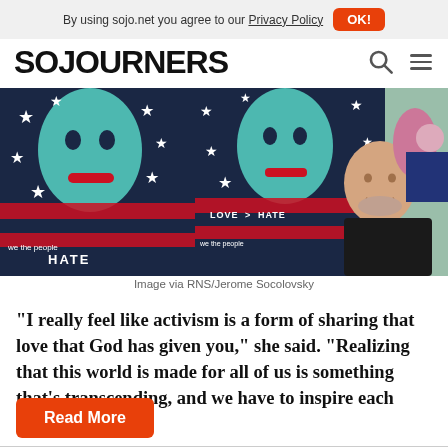By using sojo.net you agree to our Privacy Policy  OK!
SOJOURNERS
[Figure (photo): Protest photo showing people holding 'We the People' and 'Love > Hate' signs with American flag imagery, a bald man in a black jacket visible in the foreground, outdoor rally setting.]
Image via RNS/Jerome Socolovsky
“I really feel like activism is a form of sharing that love that God has given you,” she said. “Realizing that this world is made for all of us is something that’s transcending, and we have to inspire each other.”
Read More